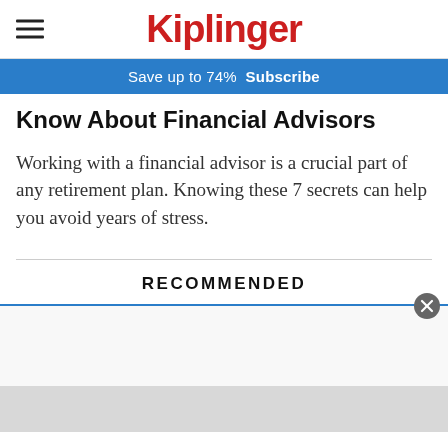Kiplinger
Save up to 74%  Subscribe
Know About Financial Advisors
Working with a financial advisor is a crucial part of any retirement plan. Knowing these 7 secrets can help you avoid years of stress.
RECOMMENDED